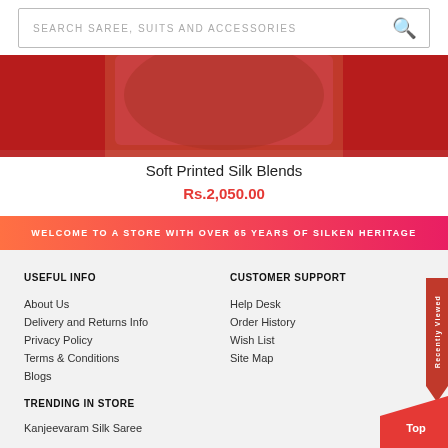SEARCH SAREE, SUITS AND ACCESSORIES
[Figure (photo): Red/maroon saree product image partially visible at top]
Soft Printed Silk Blends
Rs.2,050.00
WELCOME TO A STORE WITH OVER 65 YEARS OF SILKEN HERITAGE
USEFUL INFO
About Us
Delivery and Returns Info
Privacy Policy
Terms & Conditions
Blogs
CUSTOMER SUPPORT
Help Desk
Order History
Wish List
Site Map
TRENDING IN STORE
Kanjeevaram Silk Saree